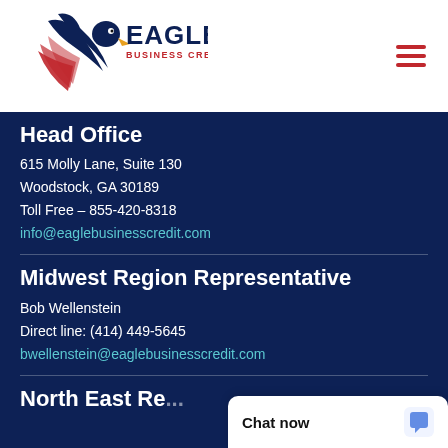[Figure (logo): Eagle Business Credit logo with eagle graphic and text]
Head Office
615 Molly Lane, Suite 130
Woodstock, GA 30189
Toll Free – 855-420-8318
info@eaglebusinesscredit.com
Midwest Region Representative
Bob Wellenstein
Direct line: (414) 449-5645
bwellenstein@eaglebusinesscredit.com
North East Re...
Chat now